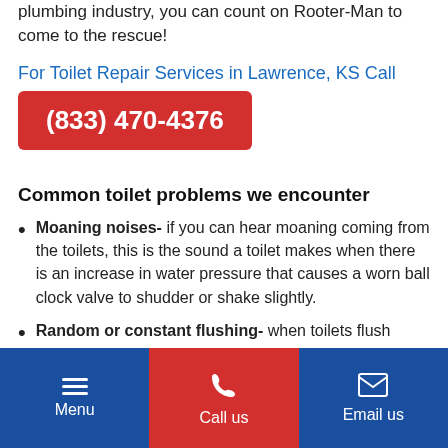plumbing industry, you can count on Rooter-Man to come to the rescue!
For Toilet Repair Services in Lawrence, KS Call
(833) 470-4376
Common toilet problems we encounter
Moaning noises- if you can hear moaning coming from the toilets, this is the sound a toilet makes when there is an increase in water pressure that causes a worn ball clock valve to shudder or shake slightly.
Random or constant flushing- when toilets flush
Menu | Call us | Email us